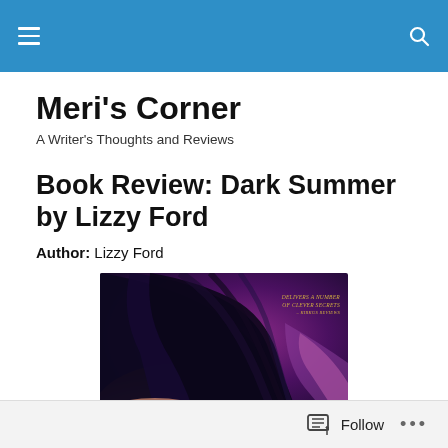Meri's Corner [navigation header with hamburger menu and search icon]
Meri's Corner
A Writer's Thoughts and Reviews
Book Review: Dark Summer by Lizzy Ford
Author: Lizzy Ford
[Figure (photo): Book cover of Dark Summer by Lizzy Ford showing a woman's back with dark hair, purple/pink tones, with text overlay reading 'DELIVERS A NUMBER OF CLEVER SECRETS - KIRKUS REVIEWS']
Follow  ...